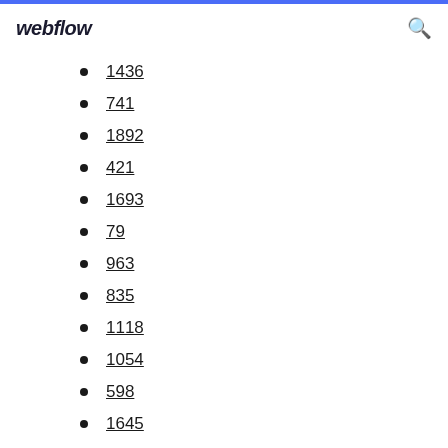webflow
1436
741
1892
421
1693
79
963
835
1118
1054
598
1645